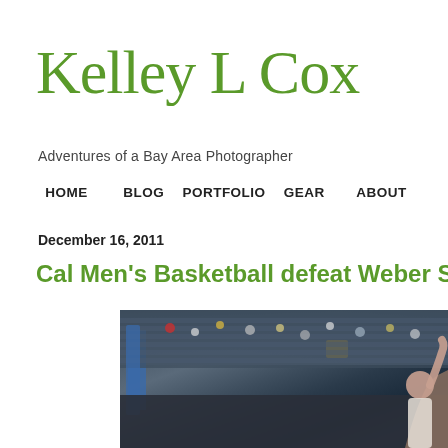Kelley L Cox
Adventures of a Bay Area Photographer
HOME   BLOG   PORTFOLIO   GEAR   ABOUT
December 16, 2011
Cal Men's Basketball defeat Weber Sta
[Figure (photo): Basketball game photo showing players on court with arena crowd in background]